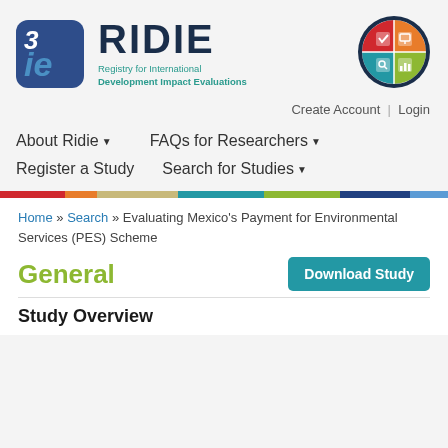[Figure (logo): 3ie logo - blue rounded square with white and light-blue stylized '3ie' lettering]
[Figure (logo): RIDIE text logo with subtitle 'Registry for International Development Impact Evaluations' in teal]
[Figure (logo): Globe icon with colorful quadrants showing various development icons]
Create Account  |  Login
About Ridie ▾
FAQs for Researchers ▾
Register a Study
Search for Studies ▾
Home » Search » Evaluating Mexico's Payment for Environmental Services (PES) Scheme
General
Download Study
Study Overview